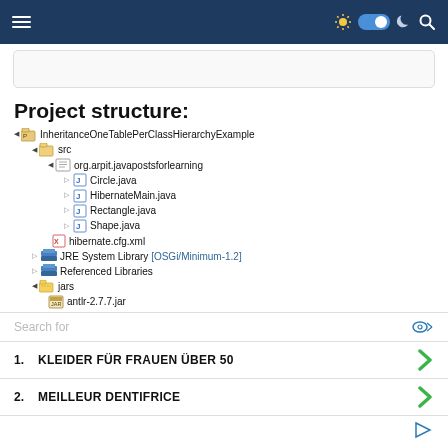Navigation bar with hamburger menu, toggle, moon, search icons
[Figure (screenshot): Code/content box placeholder]
Project structure:
[Figure (other): Project tree: InheritanceOneTablePerClassHierarchyExample > src > org.arpit.javapostsforlearning > Circle.java, HibernateMain.java, Rectangle.java, Shape.java, hibernate.cfg.xml; JRE System Library [OSGi/Minimum-1.2]; Referenced Libraries; jars > antlr-2.7.7.jar]
Search for
1. KLEIDER FÜR FRAUEN ÜBER 50
2. MEILLEUR DENTIFRICE